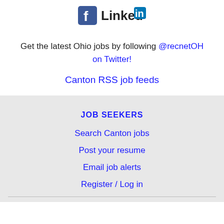[Figure (logo): Facebook and LinkedIn logos side by side]
Get the latest Ohio jobs by following @recnetOH on Twitter!
Canton RSS job feeds
JOB SEEKERS
Search Canton jobs
Post your resume
Email job alerts
Register / Log in